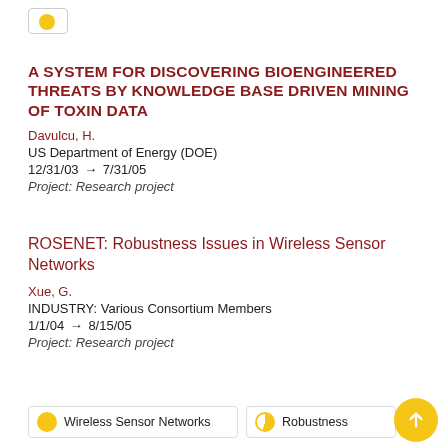A SYSTEM FOR DISCOVERING BIOENGINEERED THREATS BY KNOWLEDGE BASE DRIVEN MINING OF TOXIN DATA
Davulcu, H.
US Department of Energy (DOE)
12/31/03 → 7/31/05
Project: Research project
ROSENET: Robustness Issues in Wireless Sensor Networks
Xue, G.
INDUSTRY: Various Consortium Members
1/1/04 → 8/15/05
Project: Research project
Wireless Sensor Networks
Robustness